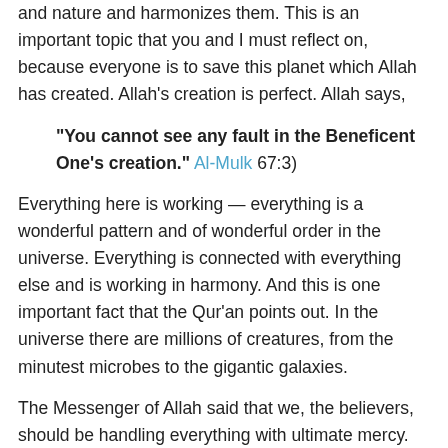and nature and harmonizes them. This is an important topic that you and I must reflect on, because everyone is to save this planet which Allah has created. Allah's creation is perfect. Allah says,
“You cannot see any fault in the Beneficent One’s creation.” (Al-Mulk 67:3)
Everything here is working — everything is a wonderful pattern and of wonderful order in the universe. Everything is connected with everything else and is working in harmony. And this is one important fact that the Qur’an points out. In the universe there are millions of creatures, from the minutest microbes to the gigantic galaxies.
The Messenger of Allah said that we, the believers, should be handling everything with ultimate mercy.
Today, unfortunately, because of what we have been doing to this planet, due to our reckless behavior, it is